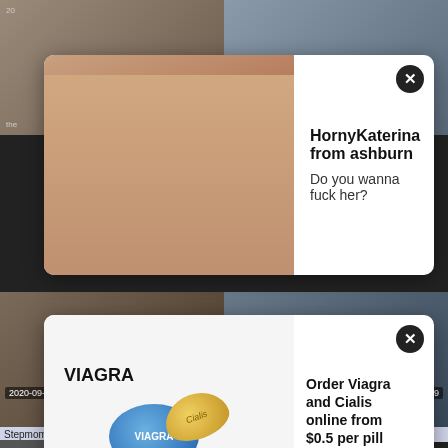[Figure (screenshot): Top-left thumbnail - adult content video thumbnail]
[Figure (screenshot): Top-right thumbnail - adult content video thumbnail]
[Figure (screenshot): Ad popup 1: HornyKaterina from ashburn - Do you wanna fuck her?]
[Figure (screenshot): Middle-left thumbnail - adult content video, date 2020-09-22, duration 23:58]
[Figure (screenshot): Middle-right thumbnail - adult content video, date 2021-11-11, duration 7:59]
[Figure (screenshot): Ad popup 2: Order Viagra and Cialis online from $0.5 per pill - Lowest price guarantee!]
Stepmom, Teacher, Daughter munching
Spb Asian Interracial Japanese Bbc 42
[Figure (screenshot): Bottom-left thumbnail - adult content video, date 2015-05-22, duration 10:58]
[Figure (screenshot): Bottom-right thumbnail - adult content video, date 2022-03-09, duration 9:32]
BLACKED Sara: Italian Babe Valentina...
Fucking wife in doggystyle and fingering...